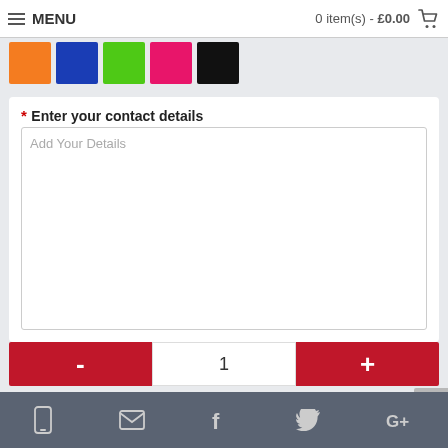MENU   0 item(s) - £0.00
[Figure (other): Color swatches: orange, blue, green, pink/magenta, black]
* Enter your contact details
Add Your Details
- 1 +
ADD TO CART
Add to Wish List   Compare this Product
mobile | email | facebook | twitter | google+